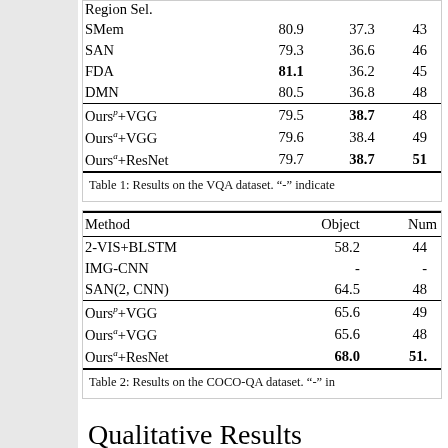| Method | Object | Num... |
| --- | --- | --- |
| Region Sel. |  |  |
| SMem | 80.9 | 37.3  43 |
| SAN | 79.3 | 36.6  46 |
| FDA | 81.1 | 36.2  45 |
| DMN | 80.5 | 36.8  48 |
| Ours^p+VGG | 79.5 | 38.7  48 |
| Ours^a+VGG | 79.6 | 38.4  49 |
| Ours^a+ResNet | 79.7 | 38.7  51 |
Table 1: Results on the VQA dataset. "-" indicate
| Method | Object | Num... |
| --- | --- | --- |
| 2-VIS+BLSTM | 58.2 | 44 |
| IMG-CNN | - | - |
| SAN(2, CNN) | 64.5 | 48 |
| Ours^p+VGG | 65.6 | 49 |
| Ours^a+VGG | 65.6 | 48 |
| Ours^a+ResNet | 68.0 | 51. |
Table 2: Results on the COCO-QA dataset. "-" in
Qualitative Results